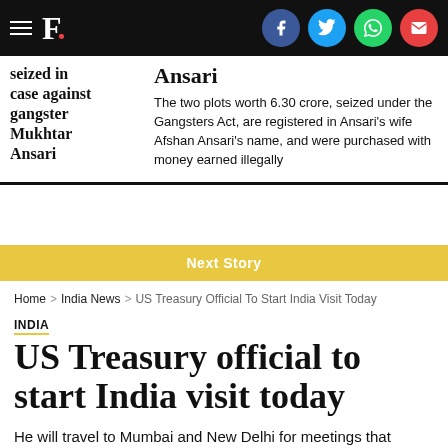F. [logo with social icons: Facebook, Twitter, WhatsApp, Email]
seized in case against gangster Mukhtar Ansari
The two plots worth 6.30 crore, seized under the Gangsters Act, are registered in Ansari's wife Afshan Ansari's name, and were purchased with money earned illegally
Next Story
Home > India News > US Treasury Official To Start India Visit Today
INDIA
US Treasury official to start India visit today
He will travel to Mumbai and New Delhi for meetings that include Prime Minister Narendra Modi's office, the Finance